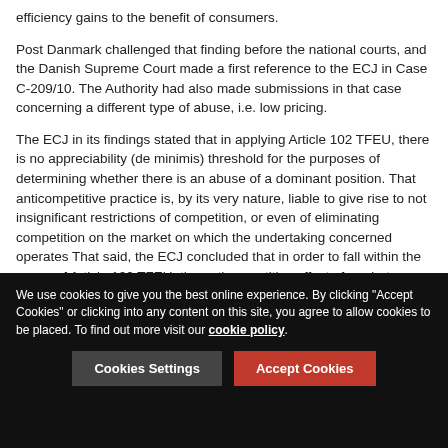efficiency gains to the benefit of consumers.
Post Danmark challenged that finding before the national courts, and the Danish Supreme Court made a first reference to the ECJ in Case C-209/10. The Authority had also made submissions in that case concerning a different type of abuse, i.e. low pricing.
The ECJ in its findings stated that in applying Article 102 TFEU, there is no appreciability (de minimis) threshold for the purposes of determining whether there is an abuse of a dominant position. That anticompetitive practice is, by its very nature, liable to give rise to not insignificant restrictions of competition, or even of eliminating competition on the market on which the undertaking concerned operates That said, the ECJ concluded that in order to fall within the scope of Article 102 TFEU, the anticompetitive effect of a rebate scheme
We use cookies to give you the best online experience. By clicking "Accept Cookies" or clicking into any content on this site, you agree to allow cookies to be placed. To find out more visit our cookie policy.